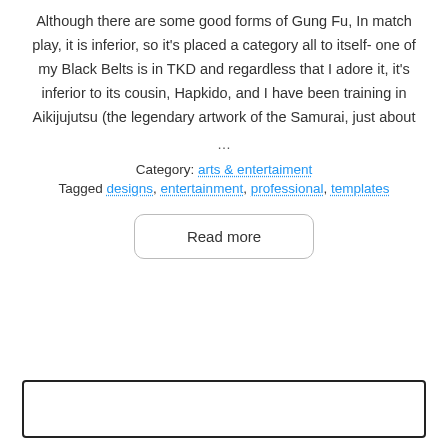Although there are some good forms of Gung Fu, In match play, it is inferior, so it's placed a category all to itself- one of my Black Belts is in TKD and regardless that I adore it, it's inferior to its cousin, Hapkido, and I have been training in Aikijujutsu (the legendary artwork of the Samurai, just about
...
Category: arts & entertaiment
Tagged designs, entertainment, professional, templates
Read more